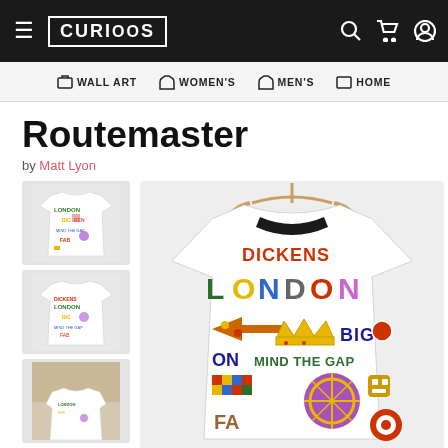CURIOOS — WALL ART | WOMEN'S | MEN'S | HOME
Routemaster
by Matt Lyon
[Figure (photo): Three thumbnail product images of a colorful t-shirt with London-themed typography design]
[Figure (photo): Main product image of a white t-shirt hanging on a wooden hanger featuring colorful London typography including LONDON, BIG BEN, MIND THE GAP, DICKENS text design by Matt Lyon]